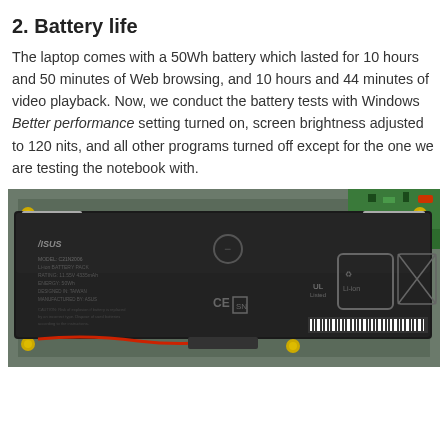2. Battery life
The laptop comes with a 50Wh battery which lasted for 10 hours and 50 minutes of Web browsing, and 10 hours and 44 minutes of video playback. Now, we conduct the battery tests with Windows Better performance setting turned on, screen brightness adjusted to 120 nits, and all other programs turned off except for the one we are testing the notebook with.
[Figure (photo): Photo of an ASUS laptop Li-ion battery pack removed from the laptop chassis, showing the battery label with specifications, CE marking, recycling symbols, and Li-ion designation. The battery is dark/black colored and seated in the laptop's open bottom panel with green circuit board visible at the top right.]